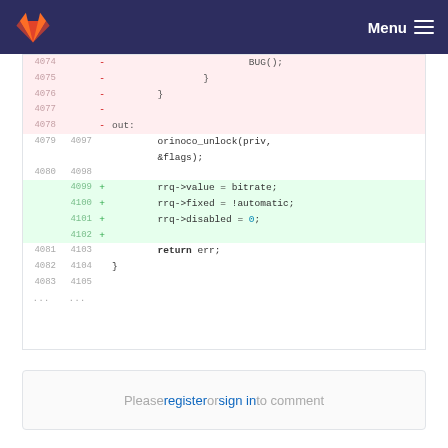GitLab Menu
[Figure (screenshot): Code diff view showing lines 4074-4083 (old) and 4097-4105 (new). Deleted lines in pink show BUG();, closing braces, and 'out:'. Normal lines show orinoco_unlock(priv, &flags);. Added lines in green show rrq->value = bitrate;, rrq->fixed = !automatic;, rrq->disabled = 0;, and a blank line. Normal lines show return err; and closing brace.]
Please register or sign in to comment